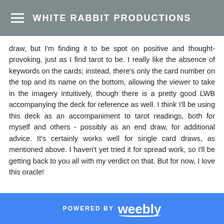WHITE RABBIT PRODUCTIONS
draw, but I'm finding it to be spot on positive and thought-provoking, just as I find tarot to be. I really like the absence of keywords on the cards; instead, there's only the card number on the top and its name on the bottom, allowing the viewer to take in the imagery intuitively, though there is a pretty good LWB accompanying the deck for reference as well. I think I'll be using this deck as an accompaniment to tarot readings, both for myself and others - possibly as an end draw, for additional advice. It's certainly works well for single card draws, as mentioned above. I haven't yet tried it for spread work, so I'll be getting back to you all with my verdict on that. But for now, I love this oracle!
POWERED BY weebly